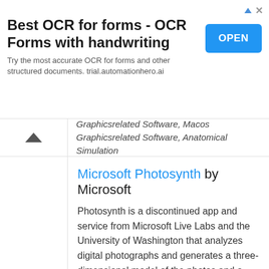[Figure (screenshot): Advertisement banner: 'Best OCR for forms - OCR Forms with handwriting' with an OPEN button and description text about trial.automationhero.ai]
Graphicsrelated Software, Macos Graphicsrelated Software, Anatomical Simulation
Microsoft Photosynth by Microsoft
Photosynth is a discontinued app and service from Microsoft Live Labs and the University of Washington that analyzes digital photographs and generates a three-dimensional model of the photos and a…
Latest version of Microsoft Photosynth is 2.110.317.1042 and it was released on 2010-03-18.
Tags: Microsoft Live Labs, Microsoft Software, Photo Software, Photo Stitching Software, 3d